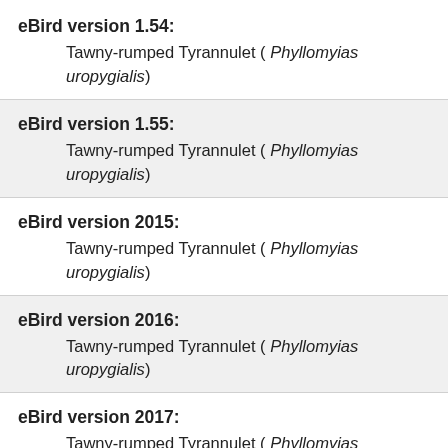eBird version 1.54: Tawny-rumped Tyrannulet ( Phyllomyias uropygialis)
eBird version 1.55: Tawny-rumped Tyrannulet ( Phyllomyias uropygialis)
eBird version 2015: Tawny-rumped Tyrannulet ( Phyllomyias uropygialis)
eBird version 2016: Tawny-rumped Tyrannulet ( Phyllomyias uropygialis)
eBird version 2017: Tawny-rumped Tyrannulet ( Phyllomyias